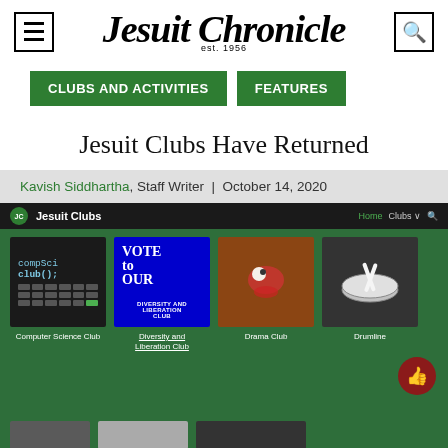Jesuit Chronicle est. 1956
CLUBS AND ACTIVITIES | FEATURES
Jesuit Clubs Have Returned
Kavish Siddhartha, Staff Writer | October 14, 2020
[Figure (screenshot): Screenshot of the Jesuit Clubs website showing a dark navigation bar with 'Jesuit Clubs' title, and a green background grid of four clubs: Computer Science Club, Diversity and Liberation Club, Drama Club, and Drumline.]